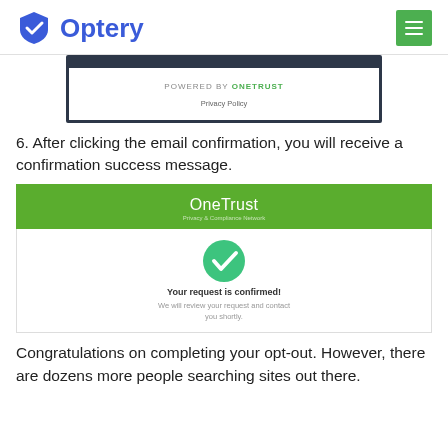Optery
[Figure (screenshot): Screenshot of OneTrust form bottom showing 'POWERED BY OneTrust' and 'Privacy Policy' text on white background with dark border]
6. After clicking the email confirmation, you will receive a confirmation success message.
[Figure (screenshot): OneTrust confirmation screen with green header showing 'OneTrust', a green checkmark circle, bold text 'Your request is confirmed!', and smaller text 'We will review your request and contact you shortly.']
Congratulations on completing your opt-out.  However, there are dozens more people searching sites out there.